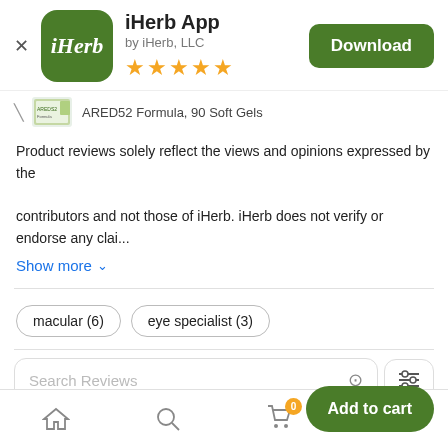[Figure (screenshot): iHerb app store listing screenshot showing app icon (green rounded square with iHerb logo), app name, developer, star rating, download button, product row, review disclaimer, show more link, tags, search reviews field, add to cart button, reviews count, and bottom navigation bar]
iHerb App
by iHerb, LLC
★★★★★
ARED52 Formula, 90 Soft Gels
Product reviews solely reflect the views and opinions expressed by the contributors and not those of iHerb. iHerb does not verify or endorse any clai...
Show more ∨
macular (6)
eye specialist (3)
Search Reviews
Add to cart
270 Reviews